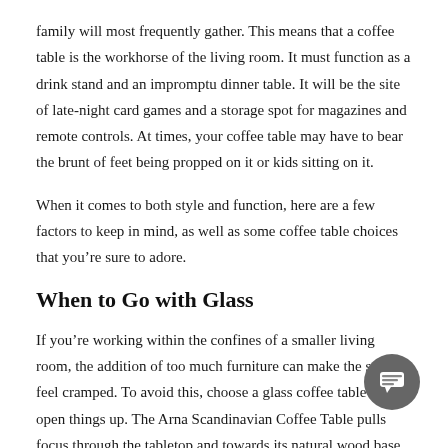family will most frequently gather. This means that a coffee table is the workhorse of the living room. It must function as a drink stand and an impromptu dinner table. It will be the site of late-night card games and a storage spot for magazines and remote controls. At times, your coffee table may have to bear the brunt of feet being propped on it or kids sitting on it.
When it comes to both style and function, here are a few factors to keep in mind, as well as some coffee table choices that you’re sure to adore.
When to Go with Glass
If you’re working within the confines of a smaller living room, the addition of too much furniture can make the space feel cramped. To avoid this, choose a glass coffee table to open things up. The Arna Scandinavian Coffee Table pulls focus through the tabletop and towards its natural wood base. Open and airy, it’s a great choice if your living room is on the small side.
A glass coffee table is also a great choice if the rest of your living room furniture is large and heavy. Solid surfaces draw the eye and make smaller